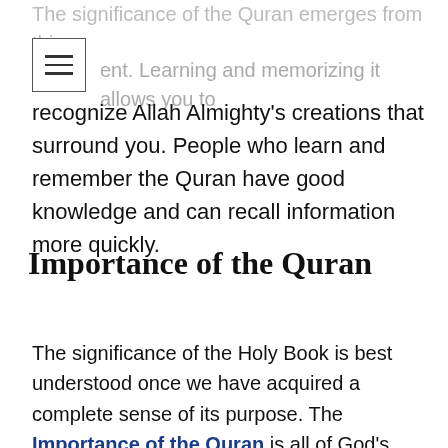The significance of the Quran emerges from this moment. Learning and memorizing it allows you to recognize Allah Almighty's creations that surround you. People who learn and remember the Quran have good knowledge and can recall information more quickly.
Importance of the Quran
The significance of the Holy Book is best understood once we have acquired a complete sense of its purpose. The Importance of the Quran is all of God's prophets has the same purpose in mind, which is to guide people.
As the Quran Said: What does it do...